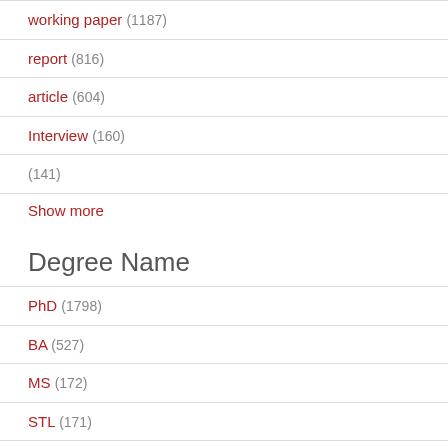working paper (1187)
report (816)
article (604)
Interview (160)
(141)
Show more
Degree Name
PhD (1798)
BA (527)
MS (172)
STL (171)
BS (152)
EdD (117)
Show more
Degree Level
Doctoral (1943)
Bachelors (682)